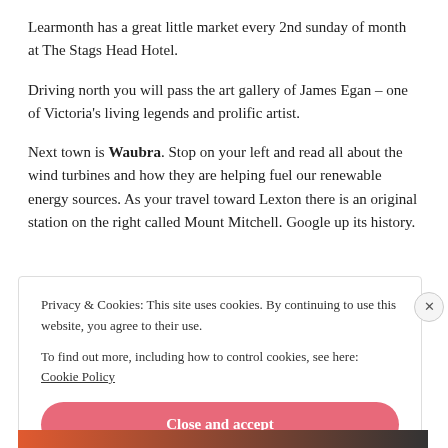Learmonth has a great little market every 2nd sunday of month at The Stags Head Hotel.
Driving north you will pass the art gallery of James Egan – one of Victoria's living legends and prolific artist.
Next town is Waubra. Stop on your left and read all about the wind turbines and how they are helping fuel our renewable energy sources. As your travel toward Lexton there is an original station on the right called Mount Mitchell. Google up its history.
Privacy & Cookies: This site uses cookies. By continuing to use this website, you agree to their use. To find out more, including how to control cookies, see here: Cookie Policy
Close and accept